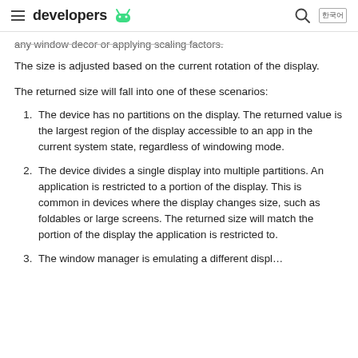developers
any window decor or applying scaling factors.
The size is adjusted based on the current rotation of the display.
The returned size will fall into one of these scenarios:
The device has no partitions on the display. The returned value is the largest region of the display accessible to an app in the current system state, regardless of windowing mode.
The device divides a single display into multiple partitions. An application is restricted to a portion of the display. This is common in devices where the display changes size, such as foldables or large screens. The returned size will match the portion of the display the application is restricted to.
The window manager is emulating a different displ…